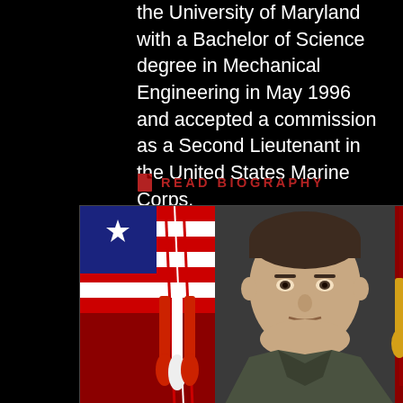the University of Maryland with a Bachelor of Science degree in Mechanical Engineering in May 1996 and accepted a commission as a Second Lieutenant in the United States Marine Corps.
READ BIOGRAPHY
[Figure (photo): Official military portrait of a US Marine Corps officer in dress uniform, flanked by flags including the American flag and Marine Corps flag with visible tassels and the text 'FIDE' partially visible.]